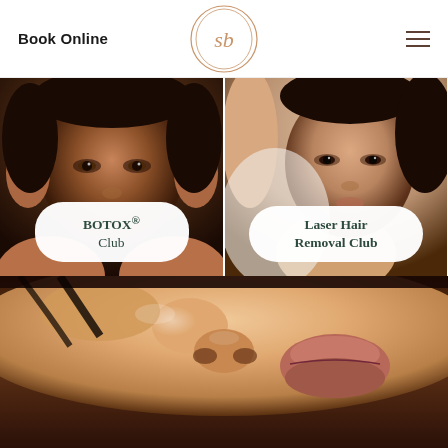Book Online
[Figure (logo): Circular rose gold logo with stylized 'sb' script lettering inside an oval/circle outline]
[Figure (photo): Close-up portrait of a Black woman with hands on her face, looking at camera]
BOTOX® Club
[Figure (photo): Portrait of a woman with arm raised, showing underarm, looking at camera]
Laser Hair Removal Club
[Figure (photo): Close-up macro photo of a woman's lips and nose area from the side, with glowing skin texture]